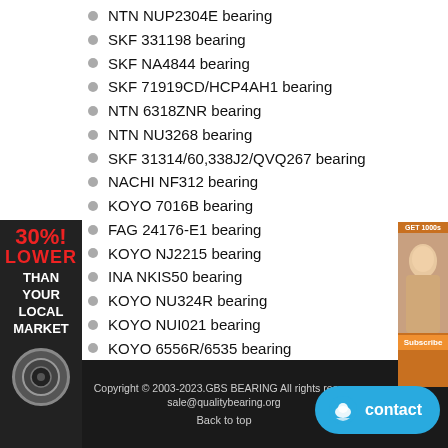NTN NUP2304E bearing
SKF 331198 bearing
SKF NA4844 bearing
SKF 71919CD/HCP4AH1 bearing
NTN 6318ZNR bearing
NTN NU3268 bearing
SKF 31314/60,338J2/QVQ267 bearing
NACHI NF312 bearing
KOYO 7016B bearing
FAG 24176-E1 bearing
KOYO NJ2215 bearing
INA NKIS50 bearing
KOYO NU324R bearing
KOYO NUI021 bearing
KOYO 6556R/6535 bearing
NACHI 7216BDB bearing
NACHI NP1016 bearing
[Figure (infographic): Red and black sidebar ad reading 30% LOWER THAN YOUR LOCAL MARKET with a bearing badge]
[Figure (photo): Right side advertisement with woman photo and orange button]
Copyright © 2003-2023.GBS BEARING All rights reserved sale@qualitybearing.org Back to top